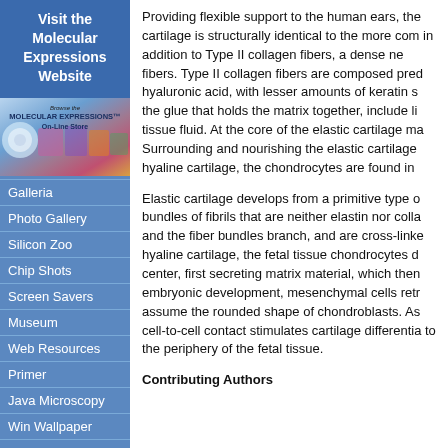Visit the Molecular Expressions Website
[Figure (illustration): Browse the Molecular Expressions On-Line Store banner with colorful microscopy images]
Galleria
Photo Gallery
Silicon Zoo
Chip Shots
Screen Savers
Museum
Web Resources
Primer
Java Microscopy
Win Wallpaper
Mac Wallpaper
Publications
Custom Photos
Image Use
Providing flexible support to the human ears, the cartilage is structurally identical to the more com in addition to Type II collagen fibers, a dense ne fibers. Type II collagen fibers are composed pred hyaluronic acid, with lesser amounts of keratin s the glue that holds the matrix together, include li tissue fluid. At the core of the elastic cartilage ma Surrounding and nourishing the elastic cartilage hyaline cartilage, the chondrocytes are found in
Elastic cartilage develops from a primitive type o bundles of fibrils that are neither elastin nor colla and the fiber bundles branch, and are cross-linke hyaline cartilage, the fetal tissue chondrocytes d center, first secreting matrix material, which then embryonic development, mesenchymal cells retr assume the rounded shape of chondroblasts. As cell-to-cell contact stimulates cartilage differentia to the periphery of the fetal tissue.
Contributing Authors